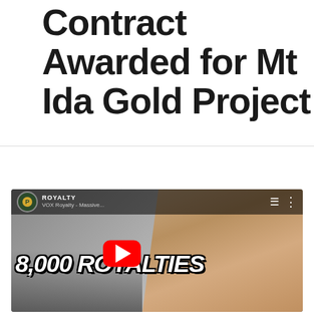Contract Awarded for Mt Ida Gold Project
[Figure (screenshot): YouTube video thumbnail for 'VOX Royalty - Massive...' showing bold text '8,000 ROYALTIES' with a YouTube play button, a man in a suit on the right side, and industrial mining equipment at bottom left. Channel is 'ROYALTY' with a coin logo.]